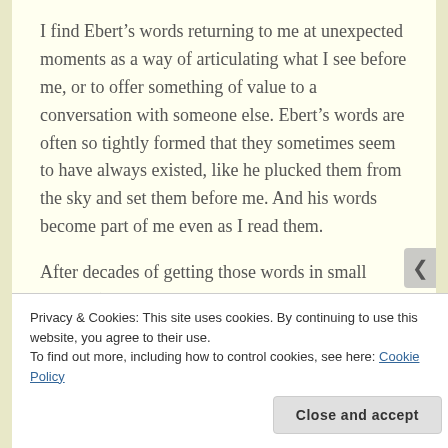I find Ebert’s words returning to me at unexpected moments as a way of articulating what I see before me, or to offer something of value to a conversation with someone else. Ebert’s words are often so tightly formed that they sometimes seem to have always existed, like he plucked them from the sky and set them before me. And his words become part of me even as I read them.
After decades of getting those words in small chunks (though nowadays, with his blog and
Privacy & Cookies: This site uses cookies. By continuing to use this website, you agree to their use.
To find out more, including how to control cookies, see here: Cookie Policy
Close and accept